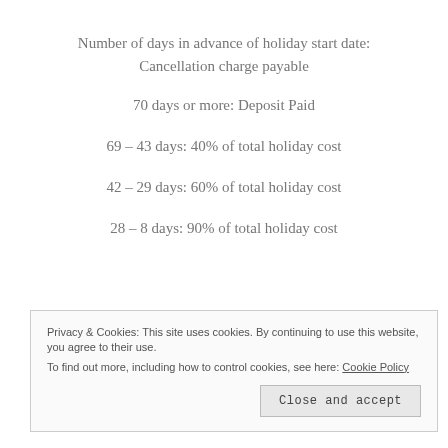Number of days in advance of holiday start date:
Cancellation charge payable
70 days or more: Deposit Paid
69 – 43 days: 40% of total holiday cost
42 – 29 days: 60% of total holiday cost
28 – 8 days: 90% of total holiday cost
Privacy & Cookies: This site uses cookies. By continuing to use this website, you agree to their use.
To find out more, including how to control cookies, see here: Cookie Policy